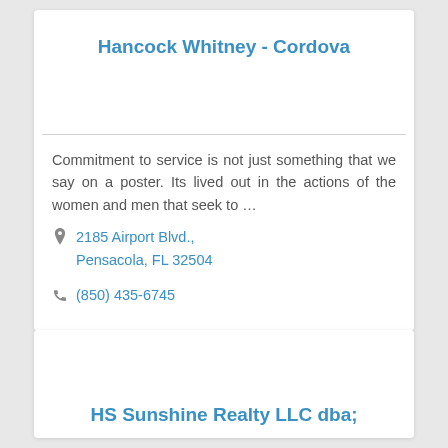Hancock Whitney - Cordova
Commitment to service is not just something that we say on a poster. Its lived out in the actions of the women and men that seek to …
2185 Airport Blvd., Pensacola, FL 32504
(850) 435-6745
HS Sunshine Realty LLC dba;